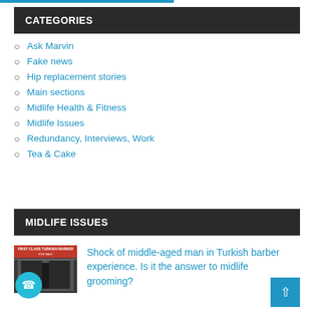CATEGORIES
Ask Marvin
Fake news
Hip replacement stories
Main sections
Midlife Health & Fitness
Midlife Issues
Redundancy, Interviews, Work
Tea & Cake
MIDLIFE ISSUES
Shock of middle-aged man in Turkish barber experience. Is it the answer to midlife grooming?
[Figure (photo): Photo of a Turkish barber shop front with red signage reading 'FIRST CLASS TURKISH BARBER']